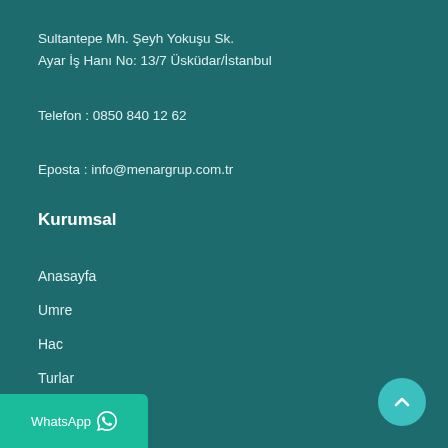Sultantepe Mh. Şeyh Yokuşu Sk.
Ayar İş Hanı No: 13/7 Üsküdar/İstanbul
Telefon : 0850 840 12 62
Eposta : info@menargrup.com.tr
Kurumsal
Anasayfa
Umre
Hac
Turlar
Hakkımızda
İletişim